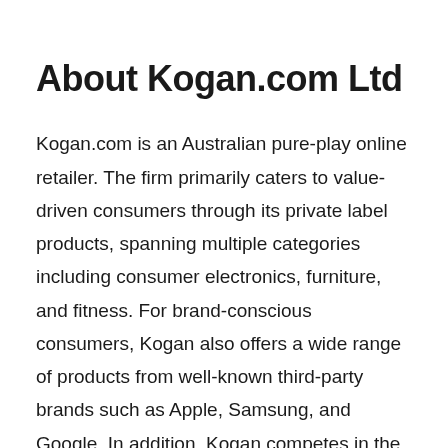About Kogan.com Ltd
Kogan.com is an Australian pure-play online retailer. The firm primarily caters to value-driven consumers through its private label products, spanning multiple categories including consumer electronics, furniture, and fitness. For brand-conscious consumers, Kogan also offers a wide range of products from well-known third-party brands such as Apple, Samsung, and Google. In addition, Kogan competes in the online marketplace industry, providing a platform and